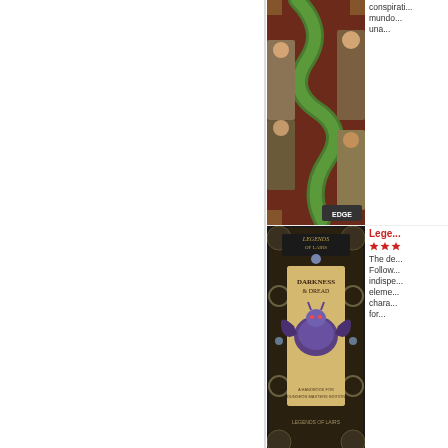[Figure (photo): Cover of a board game/RPG book with snake motif and EDGE logo, partially cropped at top]
conspirati... mundo... una...
[Figure (photo): Cover of Legends of Lairs: Darkness & Dread RPG supplement book]
Lege...
The de... Follow... indispe... eleme... chara... for...
[Figure (photo): Cover of Los Mitos de Cthulhu RPG book with dark atmospheric artwork]
Los M...
EL CO... comple... juego d... los jue... de rol... 100...